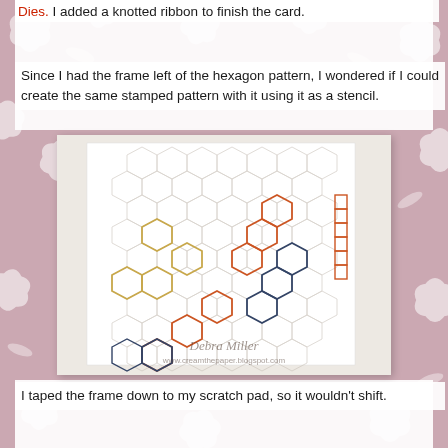Dies. I added a knotted ribbon to finish the card.
Since I had the frame left of the hexagon pattern, I wondered if I could create the same stamped pattern with it using it as a stencil.
[Figure (photo): A white card with a hexagon pattern stencil/frame placed on top, showing various hexagons outlined in gold, orange, and navy/dark blue ink. Watermark reads 'Debra Miller' and website URL.]
I taped the frame down to my scratch pad, so it wouldn't shift.